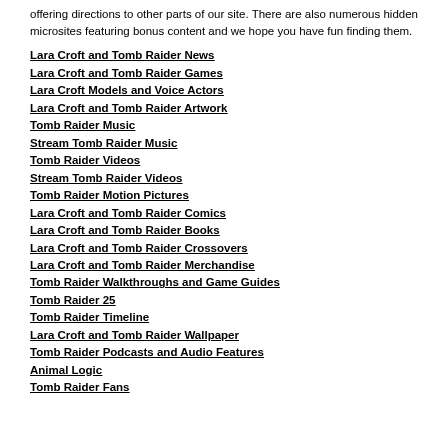offering directions to other parts of our site. There are also numerous hidden microsites featuring bonus content and we hope you have fun finding them.
Lara Croft and Tomb Raider News
Lara Croft and Tomb Raider Games
Lara Croft Models and Voice Actors
Lara Croft and Tomb Raider Artwork
Tomb Raider Music
Stream Tomb Raider Music
Tomb Raider Videos
Stream Tomb Raider Videos
Tomb Raider Motion Pictures
Lara Croft and Tomb Raider Comics
Lara Croft and Tomb Raider Books
Lara Croft and Tomb Raider Crossovers
Lara Croft and Tomb Raider Merchandise
Tomb Raider Walkthroughs and Game Guides
Tomb Raider 25
Tomb Raider Timeline
Lara Croft and Tomb Raider Wallpaper
Tomb Raider Podcasts and Audio Features
Animal Logic
Tomb Raider Fans